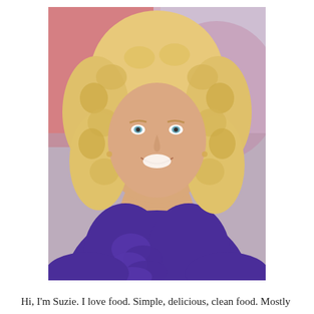[Figure (photo): Portrait photo of a smiling woman with curly blonde hair wearing a purple ruffled sleeveless top, photographed against a colorful blurred background.]
Hi, I'm Suzie. I love food. Simple, delicious, clean food. Mostly plants, some meat, usually organic. As a health coach I specialize in happy bellies and yummy recipes without hidden food triggers like gluten, dairy, soy and